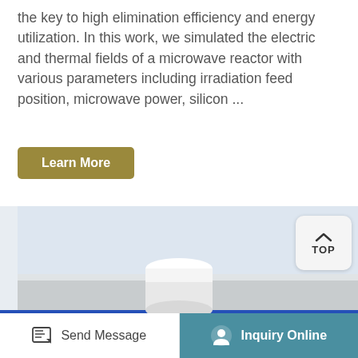the key to high elimination efficiency and energy utilization. In this work, we simulated the electric and thermal fields of a microwave reactor with various parameters including irradiation feed position, microwave power, silicon ...
Learn More
[Figure (photo): Photograph of a microwave reactor device showing a white cylindrical sample container on a metal platform, with a blue-framed control panel below featuring a display screen and numbered buttons (1, 2, 3) and a directional control.]
Send Message
Inquiry Online